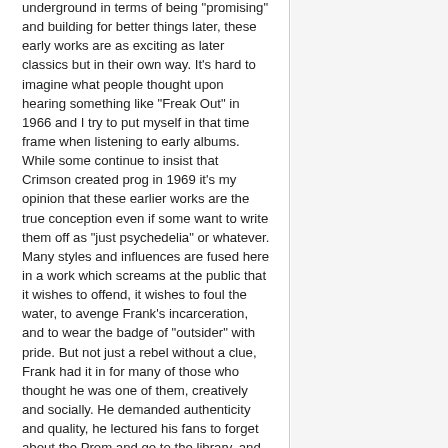underground in terms of being "promising" and building for better things later, these early works are as exciting as later classics but in their own way. It's hard to imagine what people thought upon hearing something like "Freak Out" in 1966 and I try to put myself in that time frame when listening to early albums. While some continue to insist that Crimson created prog in 1969 it's my opinion that these earlier works are the true conception even if some want to write them off as "just psychedelia" or whatever. Many styles and influences are fused here in a work which screams at the public that it wishes to offend, it wishes to foul the water, to avenge Frank's incarceration, and to wear the badge of "outsider" with pride. But not just a rebel without a clue, Frank had it in for many of those who thought he was one of them, creatively and socially. He demanded authenticity and quality, he lectured his fans to forget about the Prom and go to the library, and he scolded them for their drug use, which